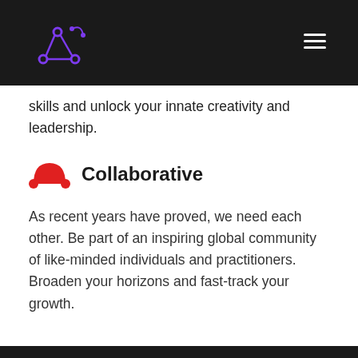skills and unlock your innate creativity and leadership.
Collaborative
As recent years have proved, we need each other. Be part of an inspiring global community of like-minded individuals and practitioners. Broaden your horizons and fast-track your growth.